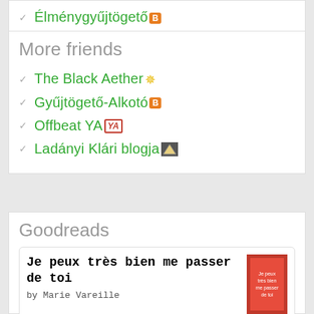Élménygyűjtögető [B]
More friends
The Black Aether ✵
Gyűjtögető-Alkotó [B]
Offbeat YA [YA]
Ladányi Klári blogja
Goodreads
Je peux très bien me passer de toi
by Marie Vareille
Je peux très bien me passer de